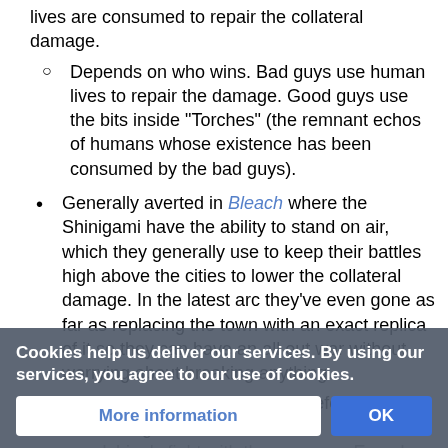lives are consumed to repair the collateral damage.
Depends on who wins. Bad guys use human lives to repair the damage. Good guys use the bits inside "Torches" (the remnant echos of humans whose existence has been consumed by the bad guys).
Generally averted in Bleach where the Shinigami have the ability to stand on air, which they generally use to keep their battles high above the cities to lower the collateral damage. In the latest arc they've even gone as far as replacing the town with an exact replica of it so they can have an all out war without worrying about breaking anything.
They have broken things before, like during Ichigo's fight with the arrancas. Espada bones. However it was mentioned that Soul Society fixes everything... being taken out of the budget of the soul responsible. The s...
Cookies help us deliver our services. By using our services, you agree to our use of cookies.